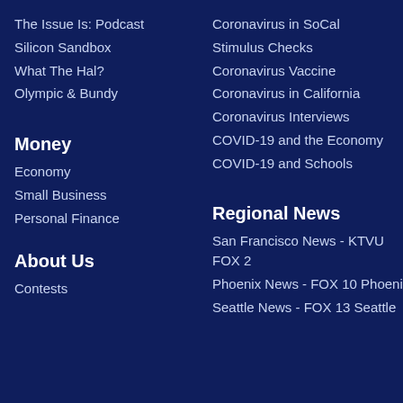The Issue Is: Podcast
Silicon Sandbox
What The Hal?
Olympic & Bundy
Money
Economy
Small Business
Personal Finance
About Us
Contests
Coronavirus in SoCal
Stimulus Checks
Coronavirus Vaccine
Coronavirus in California
Coronavirus Interviews
COVID-19 and the Economy
COVID-19 and Schools
Regional News
San Francisco News - KTVU FOX 2
Phoenix News - FOX 10 Phoenix
Seattle News - FOX 13 Seattle